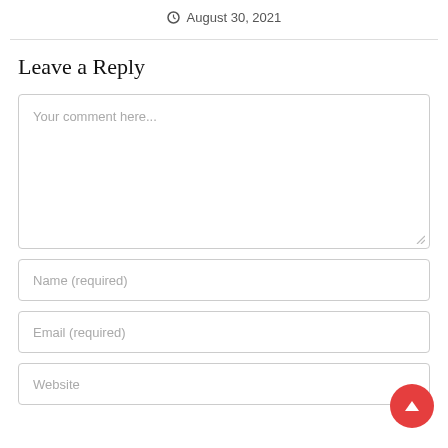August 30, 2021
Leave a Reply
Your comment here...
Name (required)
Email (required)
Website